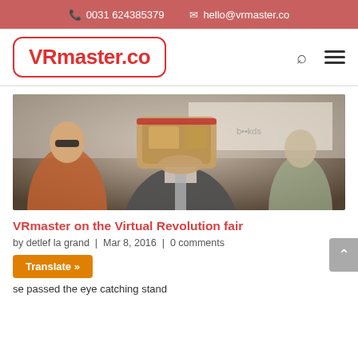📞 0031 624385379  ✉ hello@vrmaster.co
[Figure (logo): VRmaster.co logo in red text inside a red rounded rectangle border]
[Figure (photo): A man in a suit holding a cardboard VR headset up to his face at what appears to be the Virtual Revolution fair. Another man is visible in the background wearing sunglasses.]
VRmaster on the Virtual Revolution fair
by detlef la grand  |  Mar 8, 2016  |  0 comments
Translate »
se passed the eye catching stand